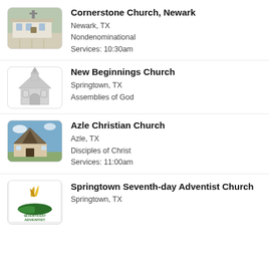[Figure (photo): Photo of Cornerstone Church building, a low flat-roofed structure with a cross and parking lot]
Cornerstone Church, Newark
Newark, TX
Nondenominational
Services: 10:30am
[Figure (illustration): Generic church icon/silhouette in gray showing a steeple and arched windows]
New Beginnings Church
Springtown, TX
Assemblies of God
[Figure (photo): Photo of Azle Christian Church building with a pointed triangular roof against blue sky]
Azle Christian Church
Azle, TX
Disciples of Christ
Services: 11:00am
[Figure (logo): Seventh-day Adventist Church logo with flame/leaf symbol and open book, green and gold colors]
Springtown Seventh-day Adventist Church
Springtown, TX